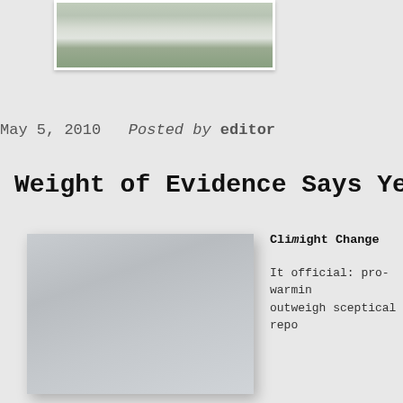[Figure (photo): Partial top photograph showing outdoor scene with mist or smoke and green landscape, cropped at top of page]
May 5, 2010  Posted by editor
Weight of Evidence Says Yes
[Figure (photo): Gray placeholder image representing an article thumbnail]
Climight Change

It official: pro-warming outweigh sceptical repo